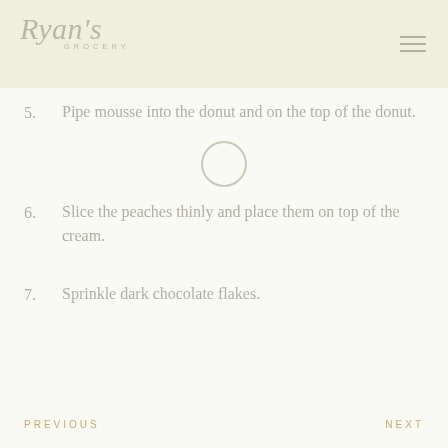Ryan's Grocery
5. Pipe mousse into the donut and on the top of the donut.
6. Slice the peaches thinly and place them on top of the cream.
7. Sprinkle dark chocolate flakes.
PREVIOUS    NEXT